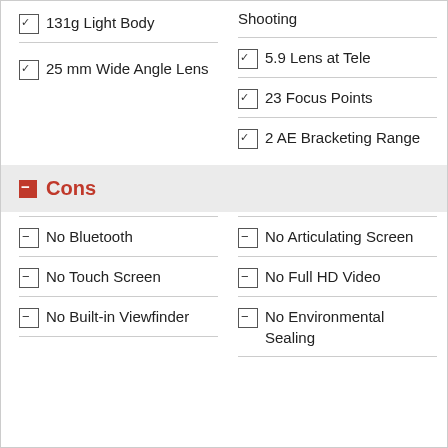☑ 131g Light Body
☑ 25 mm Wide Angle Lens
☑ 5.9 Lens at Tele
☑ 23 Focus Points
☑ 2 AE Bracketing Range
Cons
⊟ No Bluetooth
⊟ No Touch Screen
⊟ No Built-in Viewfinder
⊟ No Articulating Screen
⊟ No Full HD Video
⊟ No Environmental Sealing